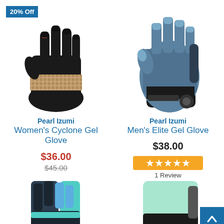[Figure (photo): Black Pearl Izumi Women's Cyclone Gel Glove with tan/copper sequin band, full finger cycling glove, with 20% Off badge]
[Figure (photo): Blue/black Pearl Izumi Men's Elite Gel Glove, fingerless cycling glove]
Pearl Izumi
Women's Cyclone Gel Glove
$36.00
$45.00
Pearl Izumi
Men's Elite Gel Glove
$38.00
[Figure (other): 5 orange star rating icons]
1 Review
[Figure (photo): Partial view of a teal/black Pearl Izumi glove at bottom left]
[Figure (photo): Partial view of a teal/mint Pearl Izumi glove at bottom right]